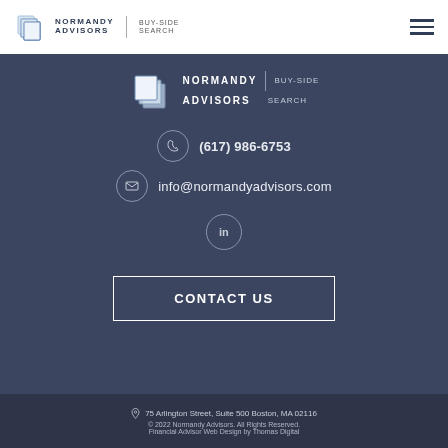Normandy Advisors | Buy-Side Search (navigation bar with logo and hamburger menu)
[Figure (logo): Normandy Advisors Buy-Side Search logo — stacked blue page icons with company name and tagline, centered on dark background]
(617) 986-6753
info@normandyadvisors.com
[Figure (logo): LinkedIn icon circle]
CONTACT US
75 Arlington Street, Suite 500 Boston, MA 02116
© 2022 Normandy Advisors. All Rights Reserved.
Financial Advisor Web Design by Thomas Digital